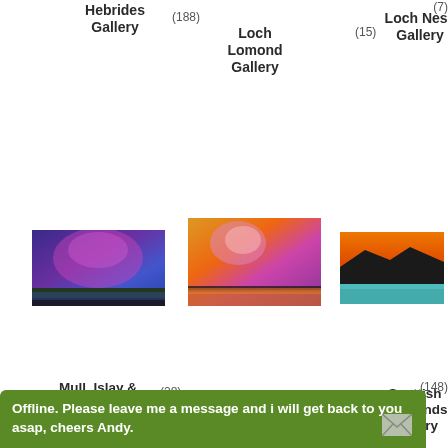Hebrides Gallery (188)
Loch Lomond Gallery (15)
Loch Ness Gallery (7)
[Figure (photo): Painting of purple and blue sky over dark landscape with hints of green]
[Figure (photo): Painting of orange and purple sunset sky over water]
[Figure (photo): Painting of orange sky with dark silhouetted rocky coast and teal water]
Mull, Islay & Iona Gallery (28)
Rum, Raasay, Eigg & Tiree Gallery (23)
Scottish Highlands Gallery (148)
[Figure (photo): Painting of orange and blue seascape with waves]
[Figure (photo): Painting of blue sky with golden horizon glow over water]
[Figure (photo): Painting of vibrant orange and red sunset over calm water]
Scottish Lowlands (234)
Skye Gallery (86)
St Andrews & Gallery (4)
Offline. Please leave me a message and i will get back to you asap, cheers Andy.